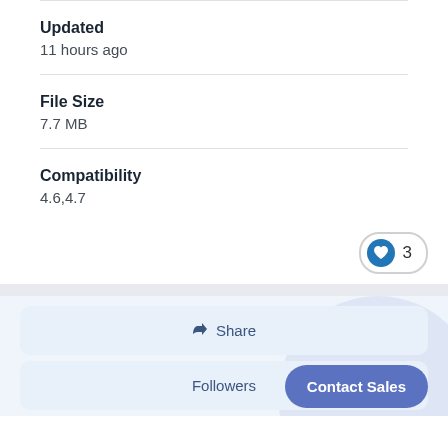Updated
11 hours ago
File Size
7.7 MB
Compatibility
4.6,4.7
3
Share
Followers
Contact Sales